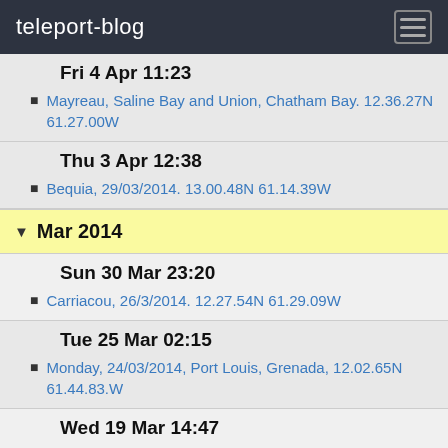teleport-blog
Fri 4 Apr 11:23
Mayreau, Saline Bay and Union, Chatham Bay. 12.36.27N 61.27.00W
Thu 3 Apr 12:38
Bequia, 29/03/2014. 13.00.48N 61.14.39W
Mar 2014
Sun 30 Mar 23:20
Carriacou, 26/3/2014. 12.27.54N 61.29.09W
Tue 25 Mar 02:15
Monday, 24/03/2014, Port Louis, Grenada, 12.02.65N 61.44.83.W
Wed 19 Mar 14:47
Tuesday, 18/03/2014. Clarkes Court Bay, Grenada. 12.00.41N 61.43.77W
Sat 15 Mar 00:06
Tyrrel Bay, Carriacou. Friday 14/03/2014. 12.27.54N 61.29.08W